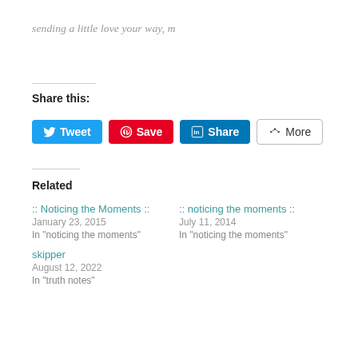sending a little love your way, m
Share this:
[Figure (screenshot): Social share buttons: Tweet (Twitter/blue), Save (Pinterest/red), Share (LinkedIn/dark blue), More (outlined)]
Related
:: Noticing the Moments ::
January 23, 2015
In "noticing the moments"
:: noticing the moments ::
July 11, 2014
In "noticing the moments"
skipper
August 12, 2022
In "truth notes"